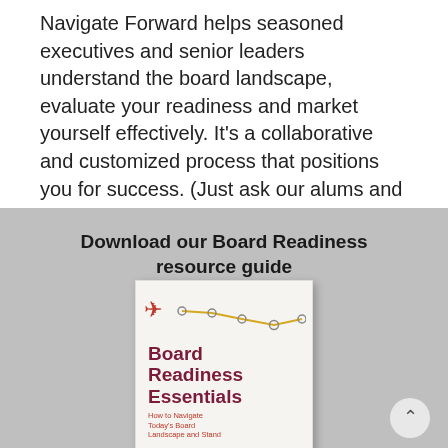Navigate Forward helps seasoned executives and senior leaders understand the board landscape, evaluate your readiness and market yourself effectively. It's a collaborative and customized process that positions you for success. (Just ask our alums and recent Outstanding Director award winners!)
Download our Board Readiness resource guide
[Figure (illustration): Book cover for 'Board Readiness Essentials: How to Navigate Today's Board Landscape and Stand' with a red airplane icon and a gold line graph on a light background]